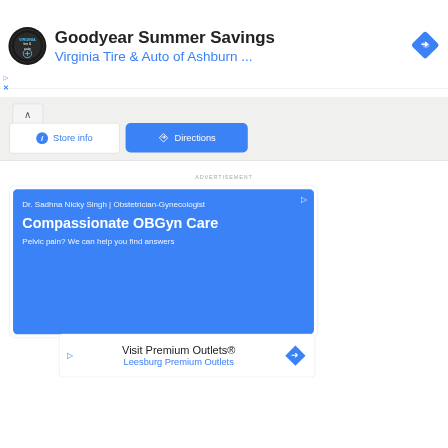[Figure (screenshot): Top advertisement banner: Virginia Tire & Auto / Goodyear Summer Savings ad with circular logo, title text, subtitle link, and blue diamond navigation icon]
Goodyear Summer Savings
Virginia Tire & Auto of Ashburn ...
[Figure (screenshot): Map panel with collapse chevron, Store info button, and blue Directions button]
Store info
Directions
ADVERTISEMENT
[Figure (screenshot): Blue advertisement card for Dr. Sadhna Nicky Singh OBGyn with headline Compassionate OBGyn Care]
Dr. Sadhna Nicky Singh | Obstetrician-Gynecologist
Compassionate OBGyn Care
Pelvic pain? We can help you find answers
[Figure (screenshot): White advertisement card for Visit Premium Outlets / Leesburg Premium Outlets]
Visit Premium Outlets®
Leesburg Premium Outlets